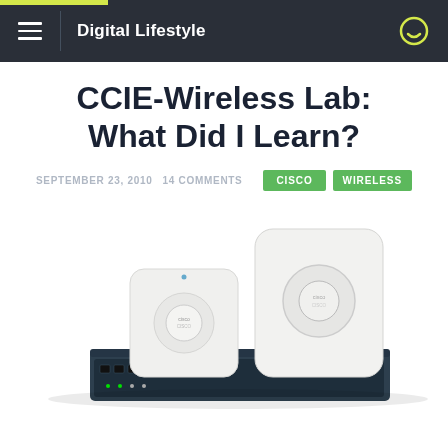Digital Lifestyle
CCIE-Wireless Lab: What Did I Learn?
SEPTEMBER 23, 2010   14 COMMENTS   CISCO   WIRELESS
[Figure (photo): Cisco wireless networking equipment: two white wireless access points and a dark-colored network switch/controller on a white background.]